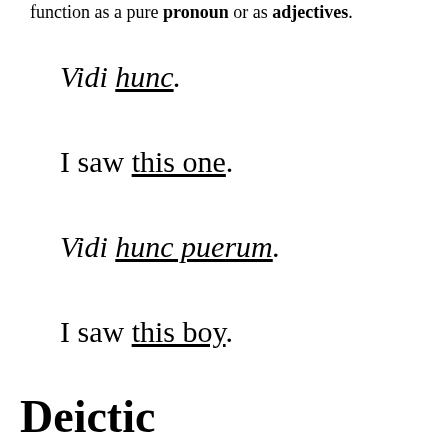function as a pure pronoun or as adjectives.
Vidi hunc.
I saw this one.
Vidi hunc puerum.
I saw this boy.
Deictic